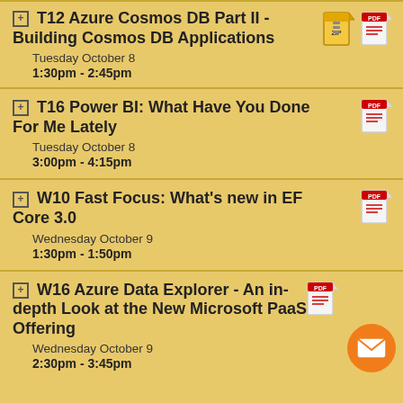T12 Azure Cosmos DB Part II - Building Cosmos DB Applications
Tuesday October 8
1:30pm - 2:45pm
T16 Power BI: What Have You Done For Me Lately
Tuesday October 8
3:00pm - 4:15pm
W10 Fast Focus: What's new in EF Core 3.0
Wednesday October 9
1:30pm - 1:50pm
W16 Azure Data Explorer - An in-depth Look at the New Microsoft PaaS Offering
Wednesday October 9
2:30pm - 3:45pm